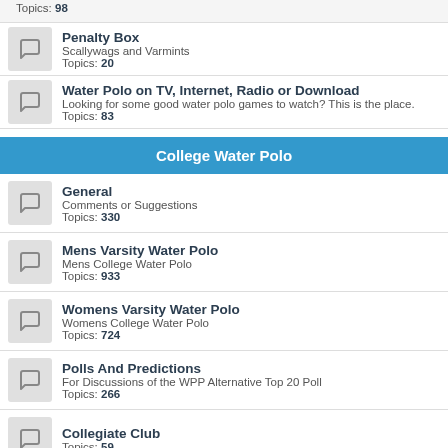Topics: 98
Penalty Box
Scallywags and Varmints
Topics: 20
Water Polo on TV, Internet, Radio or Download
Looking for some good water polo games to watch? This is the place.
Topics: 83
College Water Polo
General
Comments or Suggestions
Topics: 330
Mens Varsity Water Polo
Mens College Water Polo
Topics: 933
Womens Varsity Water Polo
Womens College Water Polo
Topics: 724
Polls And Predictions
For Discussions of the WPP Alternative Top 20 Poll
Topics: 266
Collegiate Club
Topics: 59
US Junior College
Junior College Water Polo
Topics: 33